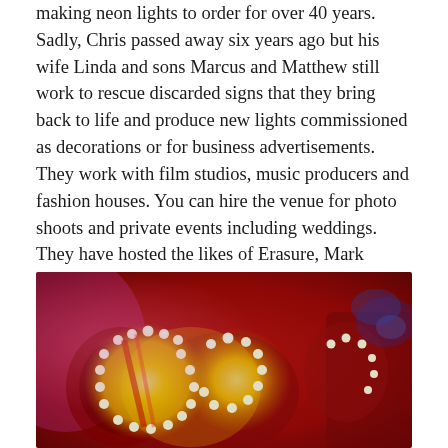making neon lights to order for over 40 years. Sadly, Chris passed away six years ago but his wife Linda and sons Marcus and Matthew still work to rescue discarded signs that they bring back to life and produce new lights commissioned as decorations or for business advertisements. They work with film studios, music producers and fashion houses. You can hire the venue for photo shoots and private events including weddings. They have hosted the likes of Erasure, Mark Ronson, The Darkness, Niall Horan and Grayson Perry. It is colourful, quirky, irreverential, and very bright. There is plenty to see, photograph and buy, as most of the lights are on sale. Have a beer or some tea and cake in the café inside the yard, then sit and enjoy the neon glow. Normal opening days are Fridays to Sundays.
[Figure (photo): A photograph showing colourful illuminated vintage-style marquee letter signs with large yellow light bulbs, against a red background with various neon and decorative lights in a yard or shop setting.]